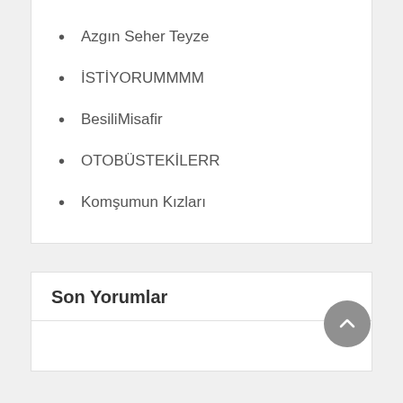Azgın Seher Teyze
İSTİYORUMMMM
BesiliMisafir
OTOBÜSTEKİLERR
Komşumun Kızları
Son Yorumlar